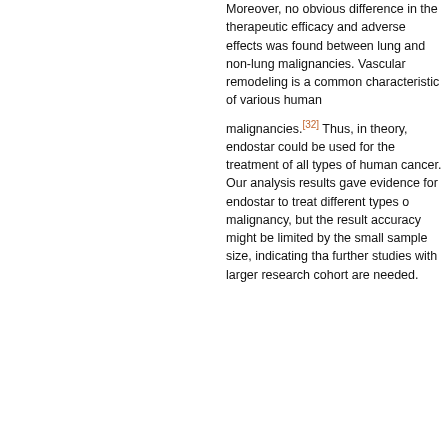Moreover, no obvious difference in the therapeutic efficacy and adverse effects was found between lung and non-lung malignancies. Vascular remodeling is a common characteristic of various human malignancies.[32] Thus, in theory, endostar could be used for the treatment of all types of human cancer. Our analysis results gave evidence for endostar to treat different types of malignancy, but the result accuracy might be limited by the small sample size, indicating that further studies with larger research cohort are needed.
endostar and... therapeutic ...atients with ... plays a ...apy with no ...pared with ...hod, the ...uous ...ence in ...ts.
participated
This study was performed with the approval of...
[Figure (other): Cookie consent overlay banner with text: 'This website uses cookies. By continuing to use this website you are giving consent to cookies being used. For information on cookies and how you can disable them visit our Privacy and Cookie Policy.' and an 'AGREE & PROCEED' button.]